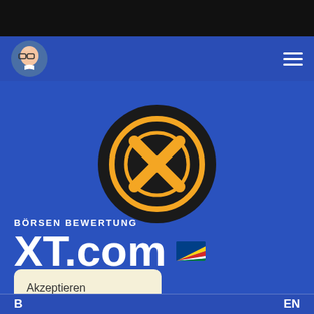[Figure (logo): XT.com exchange logo: black circle with golden X inside a golden circle ring]
BÖRSEN BEWERTUNG
XT.com 🇸🇨
Akzeptieren
EN